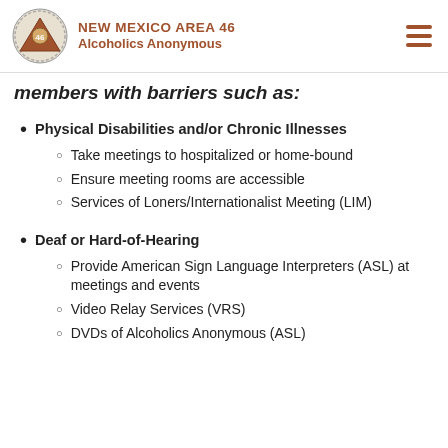NEW MEXICO AREA 46 Alcoholics Anonymous
members with barriers such as:
Physical Disabilities and/or Chronic Illnesses
Take meetings to hospitalized or home-bound
Ensure meeting rooms are accessible
Services of Loners/Internationalist Meeting (LIM)
Deaf or Hard-of-Hearing
Provide American Sign Language Interpreters (ASL) at meetings and events
Video Relay Services (VRS)
DVDs of Alcoholics Anonymous (ASL)